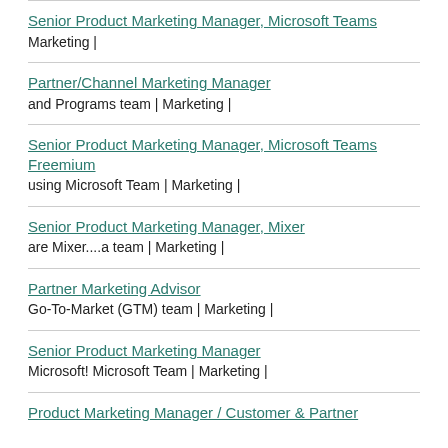Senior Product Marketing Manager, Microsoft Teams
Marketing |
Partner/Channel Marketing Manager
and Programs team | Marketing |
Senior Product Marketing Manager, Microsoft Teams Freemium
using Microsoft Team | Marketing |
Senior Product Marketing Manager, Mixer
are Mixer....a team | Marketing |
Partner Marketing Advisor
Go-To-Market (GTM) team | Marketing |
Senior Product Marketing Manager
Microsoft! Microsoft Team | Marketing |
Product Marketing Manager / Customer & Partner